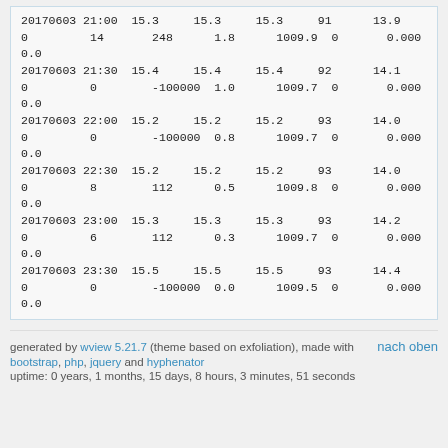| 20170603 21:00 | 15.3 | 15.3 | 15.3 | 91 | 13.9 |
| 0 | 14 | 248 | 1.8 | 1009.9 | 0 | 0.000 |
| 0.0 |
| 20170603 21:30 | 15.4 | 15.4 | 15.4 | 92 | 14.1 |
| 0 | 0 | -100000 | 1.0 | 1009.7 | 0 | 0.000 |
| 0.0 |
| 20170603 22:00 | 15.2 | 15.2 | 15.2 | 93 | 14.0 |
| 0 | 0 | -100000 | 0.8 | 1009.7 | 0 | 0.000 |
| 0.0 |
| 20170603 22:30 | 15.2 | 15.2 | 15.2 | 93 | 14.0 |
| 0 | 8 | 112 | 0.5 | 1009.8 | 0 | 0.000 |
| 0.0 |
| 20170603 23:00 | 15.3 | 15.3 | 15.3 | 93 | 14.2 |
| 0 | 6 | 112 | 0.3 | 1009.7 | 0 | 0.000 |
| 0.0 |
| 20170603 23:30 | 15.5 | 15.5 | 15.5 | 93 | 14.4 |
| 0 | 0 | -100000 | 0.0 | 1009.5 | 0 | 0.000 |
| 0.0 |
generated by wview 5.21.7 (theme based on exfoliation), made with nach oben bootstrap, php, jquery and hyphenator uptime: 0 years, 1 months, 15 days, 8 hours, 3 minutes, 51 seconds